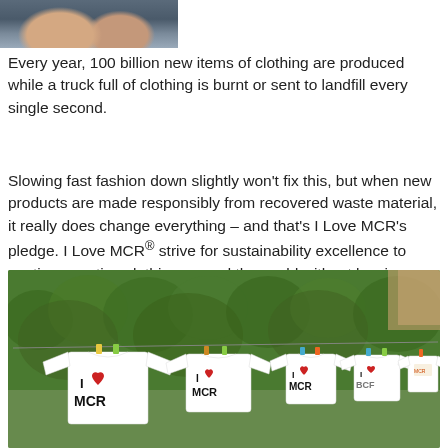[Figure (photo): Partial photo of two people at the top of the page, cropped]
Every year, 100 billion new items of clothing are produced while a truck full of clothing is burnt or sent to landfill every single second.
Slowing fast fashion down slightly won't fix this, but when new products are made responsibly from recovered waste material, it really does change everything – and that's I Love MCR's pledge. I Love MCR® strive for sustainability excellence to continue posting clothing around the world without leaving a mark on our planet.
[Figure (photo): Photo of white t-shirts with 'I Love MCR' logo hanging on a clothesline outdoors in front of green hedgerow]